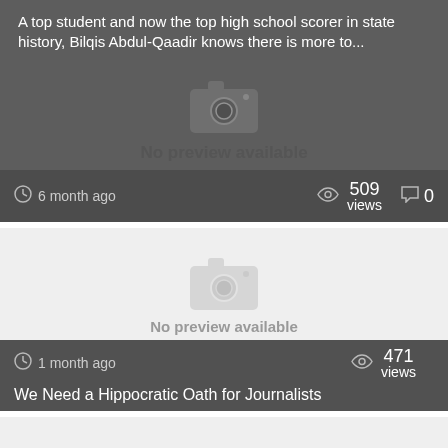A top student and now the top high school scorer in state history, Bilqis Abdul-Qaadir knows there is more to...
[Figure (screenshot): No preview available placeholder with camera icon on dark grey background]
6 month ago   509 views   0
[Figure (screenshot): No preview available placeholder with camera icon on light grey background, meta bar showing 1 month ago, 471 views, and article title We Need a Hippocratic Oath for Journalists]
1 month ago   471 views
We Need a Hippocratic Oath for Journalists
[Figure (screenshot): Third card, light grey background, no content visible]